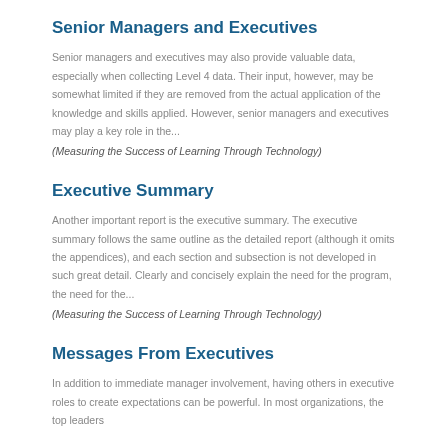Senior Managers and Executives
Senior managers and executives may also provide valuable data, especially when collecting Level 4 data. Their input, however, may be somewhat limited if they are removed from the actual application of the knowledge and skills applied. However, senior managers and executives may play a key role in the...
(Measuring the Success of Learning Through Technology)
Executive Summary
Another important report is the executive summary. The executive summary follows the same outline as the detailed report (although it omits the appendices), and each section and subsection is not developed in such great detail. Clearly and concisely explain the need for the program, the need for the...
(Measuring the Success of Learning Through Technology)
Messages From Executives
In addition to immediate manager involvement, having others in executive roles to create expectations can be powerful. In most organizations, the top leaders...